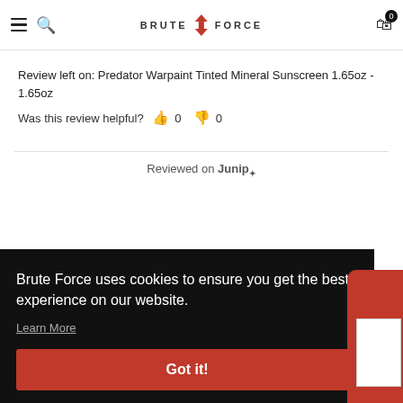BRUTE FORCE — navigation bar with hamburger, search, logo, cart (0)
Review left on: Predator Warpaint Tinted Mineral Sunscreen 1.65oz - 1.65oz
Was this review helpful? 👍 0 👎 0
Reviewed on Junip.
Brute Force uses cookies to ensure you get the best experience on our website. Learn More
Got it!